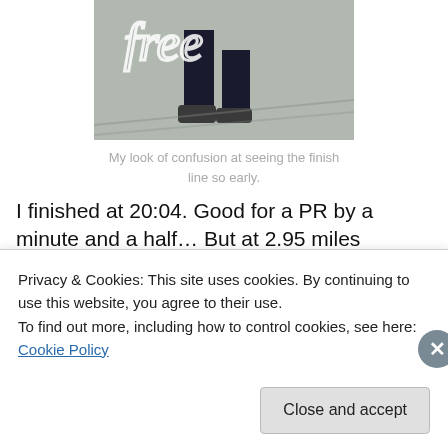[Figure (photo): Photo of runner's feet/legs near a finish line, with white cursive text overlay]
My look of confusion at seeing the finish line so early.
I finished at 20:04. Good for a PR by a minute and a half... But at 2.95 miles instead of 3.1.
| Distance | Pace | cTim | Place (O'all/Div) |
| --- | --- | --- | --- |
Privacy & Cookies: This site uses cookies. By continuing to use this website, you agree to their use. To find out more, including how to control cookies, see here: Cookie Policy